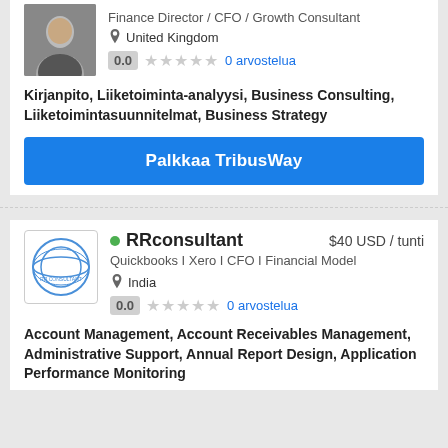Finance Director / CFO / Growth Consultant
United Kingdom
0.0   ★★★★★   0 arvostelua
Kirjanpito, Liiketoiminta-analyysi, Business Consulting, Liiketoimintasuunnitelmat, Business Strategy
Palkkaa TribusWay
RRconsultant   $40 USD / tunti
Quickbooks I Xero I CFO I Financial Model
India
0.0   ★★★★★   0 arvostelua
Account Management, Account Receivables Management, Administrative Support, Annual Report Design, Application Performance Monitoring